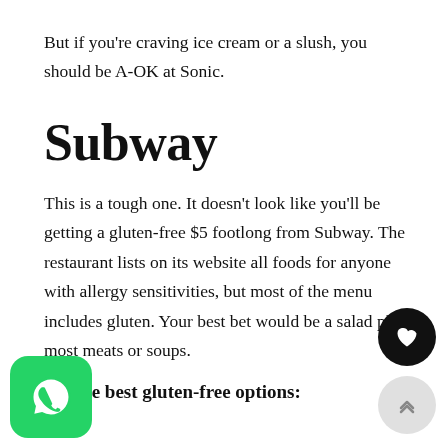But if you're craving ice cream or a slush, you should be A-OK at Sonic.
Subway
This is a tough one. It doesn't look like you'll be getting a gluten-free $5 footlong from Subway. The restaurant lists on its website all foods for anyone with allergy sensitivities, but most of the menu includes gluten. Your best bet would be a salad plus most meats or soups.
are the best gluten-free options: